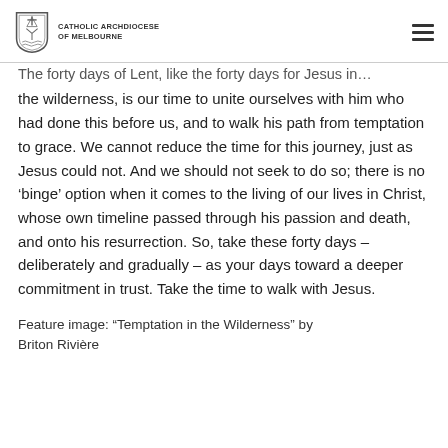CATHOLIC ARCHDIOCESE OF MELBOURNE
The forty days of Lent, like the forty days for Jesus in the wilderness, is our time to unite ourselves with him who had done this before us, and to walk his path from temptation to grace. We cannot reduce the time for this journey, just as Jesus could not. And we should not seek to do so; there is no ‘binge’ option when it comes to the living of our lives in Christ, whose own timeline passed through his passion and death, and onto his resurrection. So, take these forty days – deliberately and gradually – as your days toward a deeper commitment in trust. Take the time to walk with Jesus.
Feature image: “Temptation in the Wilderness” by Briton Rivière